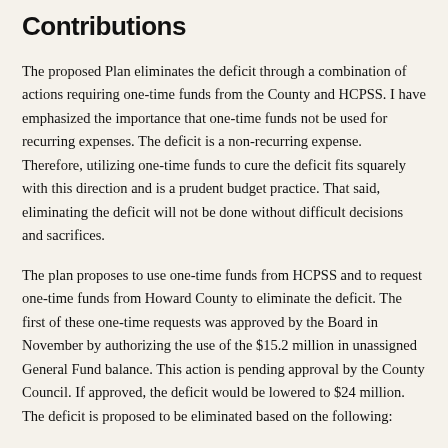Contributions
The proposed Plan eliminates the deficit through a combination of actions requiring one-time funds from the County and HCPSS. I have emphasized the importance that one-time funds not be used for recurring expenses. The deficit is a non-recurring expense. Therefore, utilizing one-time funds to cure the deficit fits squarely with this direction and is a prudent budget practice. That said, eliminating the deficit will not be done without difficult decisions and sacrifices.
The plan proposes to use one-time funds from HCPSS and to request one-time funds from Howard County to eliminate the deficit. The first of these one-time requests was approved by the Board in November by authorizing the use of the $15.2 million in unassigned General Fund balance. This action is pending approval by the County Council. If approved, the deficit would be lowered to $24 million. The deficit is proposed to be eliminated based on the following: